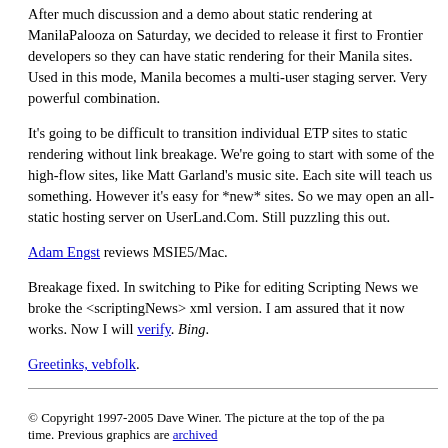After much discussion and a demo about static rendering at ManilaPalooza on Saturday, we decided to release it first to Frontier developers so they can have static rendering for their Manila sites. Used in this mode, Manila becomes a multi-user staging server. Very powerful combination.
It's going to be difficult to transition individual ETP sites to static rendering without link breakage. We're going to start with some of the high-flow sites, like Matt Garland's music site. Each site will teach us something. However it's easy for *new* sites. So we may open an all-static hosting server on UserLand.Com. Still puzzling this out.
Adam Engst reviews MSIE5/Mac.
Breakage fixed. In switching to Pike for editing Scripting News we broke the <scriptingNews> xml version. I am assured that it now works. Now I will verify. Bing.
Greetinks, vebfolk.
© Copyright 1997-2005 Dave Winer. The picture at the top of the pa... time. Previous graphics are archived.